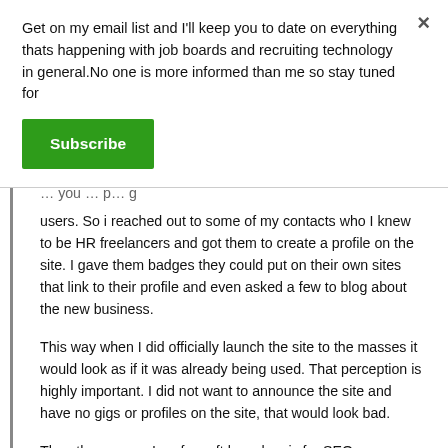Get on my email list and I'll keep you to date on everything thats happening with job boards and recruiting technology in general.No one is more informed than me so stay tuned for
Subscribe
users. So i reached out to some of my contacts who I knew to be HR freelancers and got them to create a profile on the site. I gave them badges they could put on their own sites that link to their profile and even asked a few to blog about the new business.
This way when I did officially launch the site to the masses it would look as if it was already being used. That perception is highly important. I did not want to announce the site and have no gigs or profiles on the site, that would look bad.
The other reason I prefer soft launches is for SEO purposes.